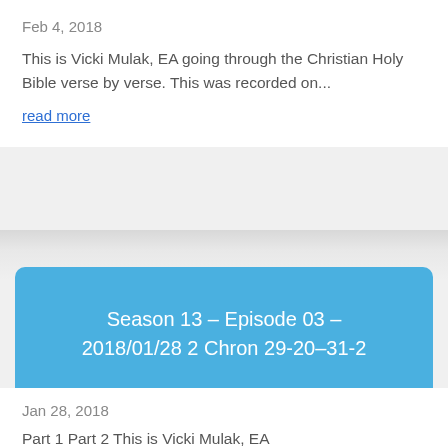Feb 4, 2018
This is Vicki Mulak, EA going through the Christian Holy Bible verse by verse. This was recorded on...
read more
Season 13 – Episode 03 – 2018/01/28 2 Chron 29-20–31-2
Jan 28, 2018
Part 1 Part 2 This is Vicki Mulak, EA